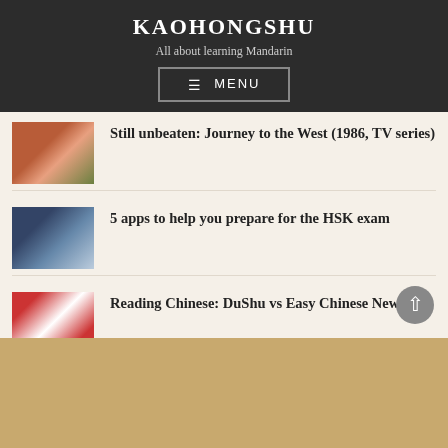KAOHONGSHU
All about learning Mandarin
MENU
Still unbeaten: Journey to the West (1986, TV series)
5 apps to help you prepare for the HSK exam
Reading Chinese: DuShu vs Easy Chinese News
My 2022 overview of resources for Mandarin Chinese (I)
The best pop-up dictionaries for learning Chinese
Reading Chinese web novels with Readibu